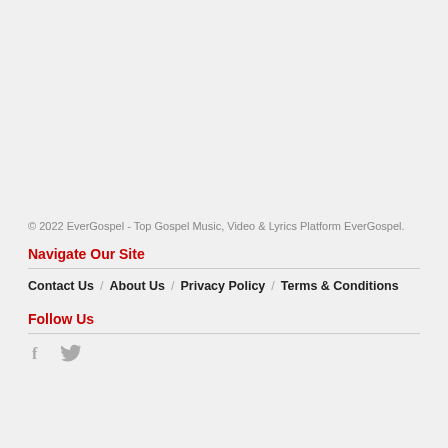© 2022 EverGospel - Top Gospel Music, Video & Lyrics Platform EverGospel.
Navigate Our Site
Contact Us / About Us / Privacy Policy / Terms & Conditions
Follow Us
[Figure (other): Social media icons: Facebook (f) and Twitter (bird icon)]